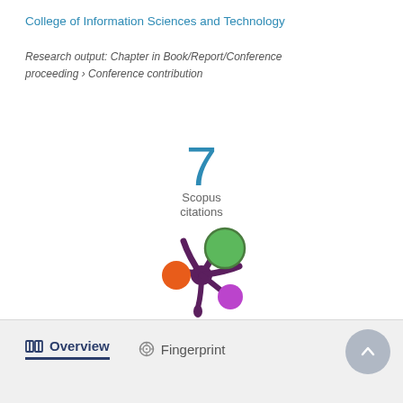College of Information Sciences and Technology
Research output: Chapter in Book/Report/Conference proceeding › Conference contribution
[Figure (infographic): Scopus citations badge showing the number 7 in blue, with label 'Scopus citations' below]
[Figure (logo): Altmetric donut-style logo with colored circles (green, orange, purple) connected by a splat shape]
Overview
Fingerprint